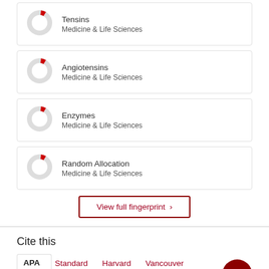[Figure (donut-chart): Tensins donut chart - small red slice, Medicine & Life Sciences]
[Figure (donut-chart): Angiotensins donut chart - small red slice, Medicine & Life Sciences]
[Figure (donut-chart): Enzymes donut chart - small red slice, Medicine & Life Sciences]
[Figure (donut-chart): Random Allocation donut chart - small red slice, Medicine & Life Sciences]
View full fingerprint >
Cite this
APA | Standard | Harvard | Vancouver